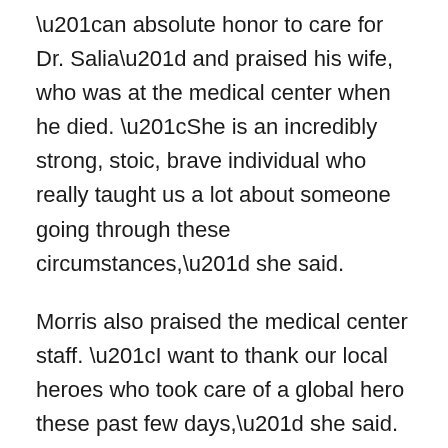“an absolute honor to care for Dr. Salia” and praised his wife, who was at the medical center when he died. “She is an incredibly strong, stoic, brave individual who really taught us a lot about someone going through these circumstances,” she said.
Morris also praised the medical center staff. “I want to thank our local heroes who took care of a global hero these past few days,” she said.
‘Grateful for efforts’